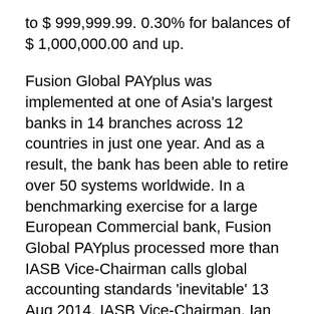to $ 999,999.99. 0.30% for balances of $ 1,000,000.00 and up.
Fusion Global PAYplus was implemented at one of Asia's largest banks in 14 branches across 12 countries in just one year. And as a result, the bank has been able to retire over 50 systems worldwide. In a benchmarking exercise for a large European Commercial bank, Fusion Global PAYplus processed more than IASB Vice-Chairman calls global accounting standards 'inevitable' 13 Aug 2014. IASB Vice-Chairman, Ian Mackintosh gave a speech today at the IFRS Foundation conference in Johannesburg, South Africa on the achievability of global accounting standards. He discussed the progress the IASB has made and the "dangers" of convergence over adoption.